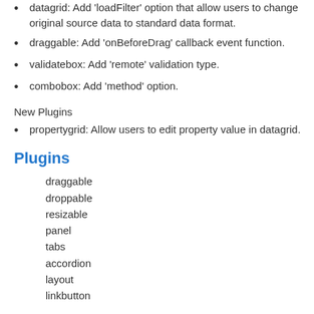datagrid: Add 'loadFilter' option that allow users to change original source data to standard data format.
draggable: Add 'onBeforeDrag' callback event function.
validatebox: Add 'remote' validation type.
combobox: Add 'method' option.
New Plugins
propertygrid: Allow users to edit property value in datagrid.
Plugins
draggable
droppable
resizable
panel
tabs
accordion
layout
linkbutton